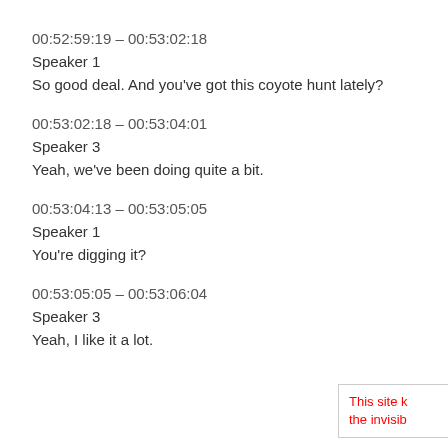00:52:59:19 – 00:53:02:18
Speaker 1
So good deal. And you've got this coyote hunt lately?
00:53:02:18 – 00:53:04:01
Speaker 3
Yeah, we've been doing quite a bit.
00:53:04:13 – 00:53:05:05
Speaker 1
You're digging it?
00:53:05:05 – 00:53:06:04
Speaker 3
Yeah, I like it a lot.